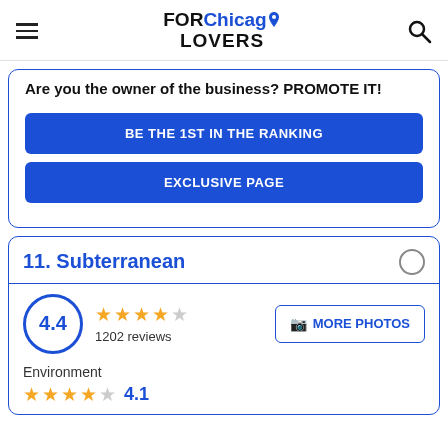FOR Chicago LOVERS
Are you the owner of the business? PROMOTE IT!
BE THE 1ST IN THE RANKING
EXCLUSIVE PAGE
11. Subterranean
4.4 — 1202 reviews
MORE PHOTOS
Environment
4.1